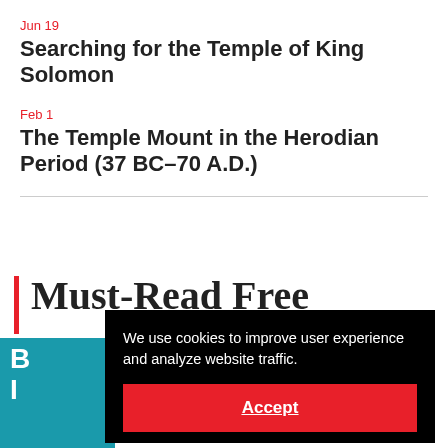Jun 19
Searching for the Temple of King Solomon
Feb 1
The Temple Mount in the Herodian Period (37 BC–70 A.D.)
[Figure (screenshot): Partial view of a 'Must Read Free' section heading with a red vertical bar accent, partially obscured by a cookie consent modal overlay. Below is a teal colored book cover strip. The cookie consent modal reads: 'We use cookies to improve user experience and analyze website traffic.' with an Accept button.]